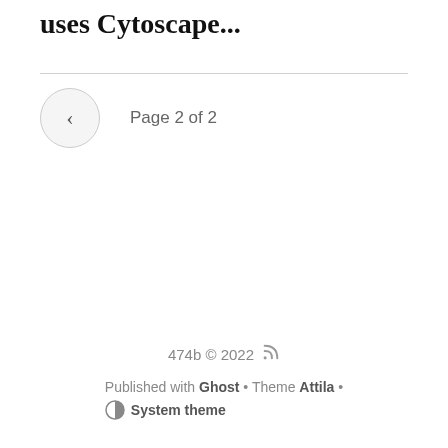uses Cytoscape...
Page 2 of 2
474b © 2022
Published with Ghost • Theme Attila • System theme